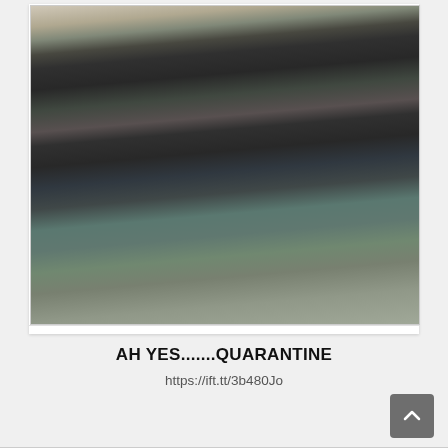[Figure (photo): Three children lying on the floor with their hands and feet bound, wearing dark clothes, on a teal patterned rug in what appears to be a home interior.]
AH YES.......QUARANTINE
https://ift.tt/3b480Jo